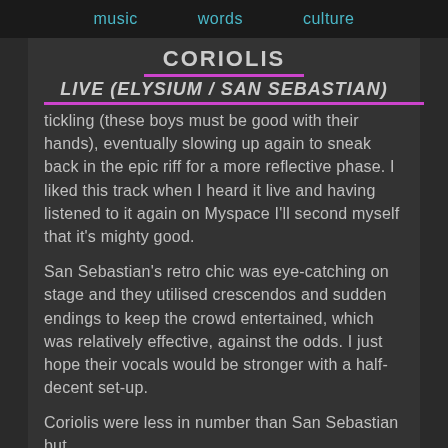music   words   culture
CORIOLIS
LIVE (ELYSIUM / SAN SEBASTIAN)
tickling (these boys must be good with their hands), eventually slowing up again to sneak back in the epic riff for a more reflective phase. I liked this track when I heard it live and having listened to it again on Myspace I'll second myself that it's mighty good.
San Sebastian's retro chic was eye-catching on stage and they utilised crescendos and sudden endings to keep the crowd entertained, which was relatively effective, against the odds. I just hope their vocals would be stronger with a half-decent set-up.
Coriolis were less in number than San Sebastian but